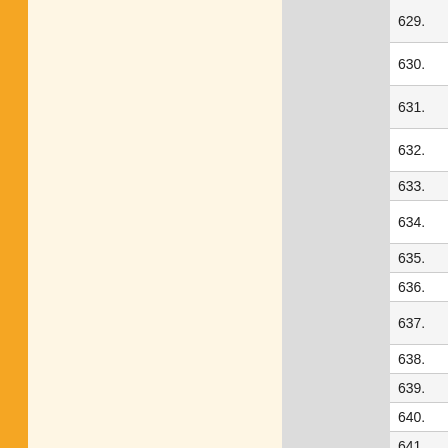| No. | Date | Title |
| --- | --- | --- |
| 629. | 09/07/2016 | Tentative Me... specialization... |
| 630. | 09/07/2016 | Tentative Me... Session 201... |
| 631. | 09/07/2016 | Tentative Me... Year, Sessio... |
| 632. | 09/07/2016 | Tentative Me... Year, Sessio... |
| 633. | 06/07/2016 | Admission S... |
| 634. | 16/06/2016 | Walk-in-Inter... Technology |
| 635. | 16/06/2016 | Walk-in-Inter... |
| 636. | 11/06/2016 | Invitation lett... |
| 637. | 11/06/2016 | Invitation lett... etc. |
| 638. | 11/06/2016 | Invitation lett... |
| 639. | 11/06/2016 | Invitation lett... |
| 640. | 11/06/2016 | Invitation lett... |
| 641. | 11/06/2016 | Invitation lett... |
| 642. | 01/06/2016 | Advertiseme... |